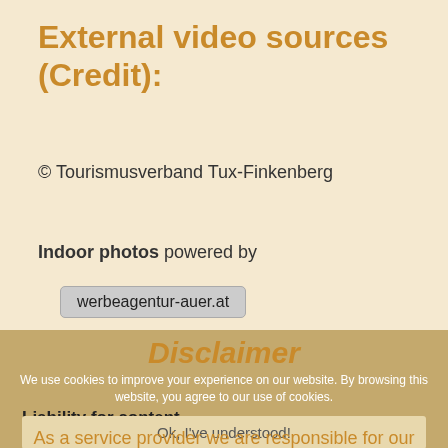External video sources (Credit):
© Tourismusverband Tux-Finkenberg
Indoor photos powered by
werbeagentur-auer.at
Disclaimer
We use cookies to improve your experience on our website. By browsing this website, you agree to our use of cookies.
Liability for content
Ok, I've understood!
As a service provider we are responsible for our